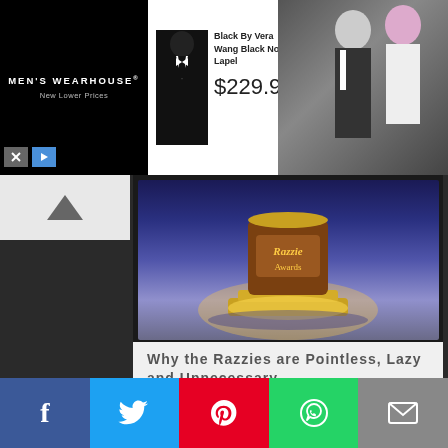[Figure (screenshot): Men's Wearhouse advertisement banner showing a black tuxedo with text 'Black By Vera Wang Black Notch Lapel $229.99' and a couple in formalwear]
[Figure (photo): Razzies award trophy on a glowing pedestal with blue/purple background]
Why the Razzies are Pointless, Lazy and Unnecessary
Tom Bond   March 1, 2014
Analysis, Features, Opinion
Welcome to the jewel in the crown of awards season. Tonight the world holds its breath for the 34th Annual Razzies, where all that glitters is most definitely not gold. Formed in 1980 by publicist John J. B....
[Figure (infographic): Social media sharing bar with Facebook, Twitter, Pinterest, WhatsApp, and Email buttons]